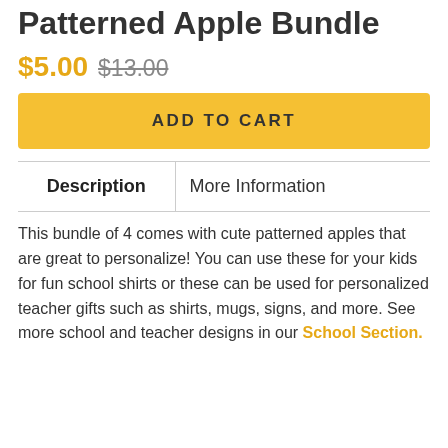Patterned Apple Bundle
$5.00  $13.00
ADD TO CART
| Description | More Information |
| --- | --- |
This bundle of 4 comes with cute patterned apples that are great to personalize! You can use these for your kids for fun school shirts or these can be used for personalized teacher gifts such as shirts, mugs, signs, and more. See more school and teacher designs in our School Section.